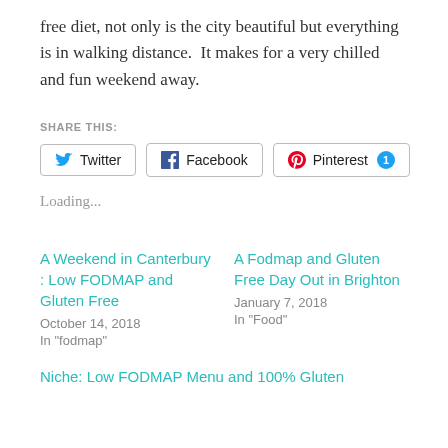free diet, not only is the city beautiful but everything is in walking distance.  It makes for a very chilled and fun weekend away.
SHARE THIS:
Twitter   Facebook   Pinterest 1
Loading...
A Weekend in Canterbury : Low FODMAP and Gluten Free
October 14, 2018
In "fodmap"
A Fodmap and Gluten Free Day Out in Brighton
January 7, 2018
In "Food"
Niche: Low FODMAP Menu and 100% Gluten